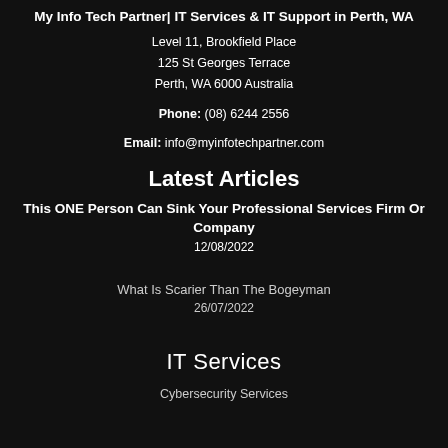My Info Tech Partner| IT Services & IT Support in Perth, WA
Level 11, Brookfield Place
125 St Georges Terrace
Perth, WA 6000 Australia
Phone: (08) 6244 2556
Email: info@myinfotechpartner.com
Latest Articles
This ONE Person Can Sink Your Professional Services Firm Or Company
12/08/2022
What Is Scarier Than The Bogeyman
26/07/2022
IT Services
Cybersecurity Services